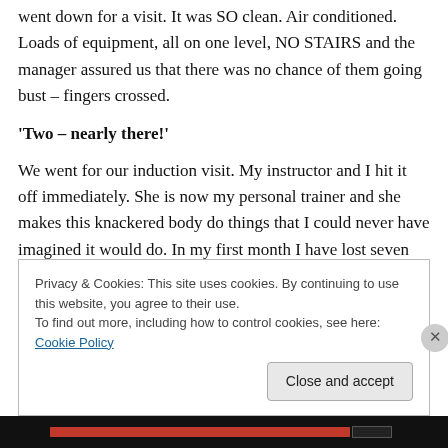went down for a visit. It was SO clean. Air conditioned. Loads of equipment, all on one level, NO STAIRS and the manager assured us that there was no chance of them going bust – fingers crossed.
'Two – nearly there!'
We went for our induction visit. My instructor and I hit it off immediately. She is now my personal trainer and she makes this knackered body do things that I could never have imagined it would do. In my first month I have lost seven inches. I haven't had to use my walking stick for
Privacy & Cookies: This site uses cookies. By continuing to use this website, you agree to their use.
To find out more, including how to control cookies, see here: Cookie Policy